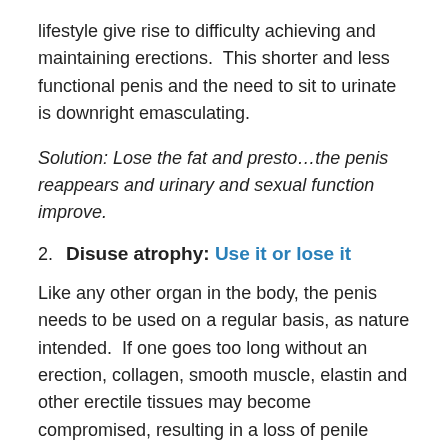lifestyle give rise to difficulty achieving and maintaining erections.  This shorter and less functional penis and the need to sit to urinate is downright emasculating.
Solution: Lose the fat and presto…the penis reappears and urinary and sexual function improve.
2. Disuse atrophy: Use it or lose it
Like any other organ in the body, the penis needs to be used on a regular basis, as nature intended.  If one goes too long without an erection, collagen, smooth muscle, elastin and other erectile tissues may become compromised, resulting in a loss of penile length and girth and limiting one's ability to achieve an erection. In a vicious cycle, loss of sexual function can lead to further progression of the problem as poor genital blood flow causes low oxygen levels in the genital tissues, that in